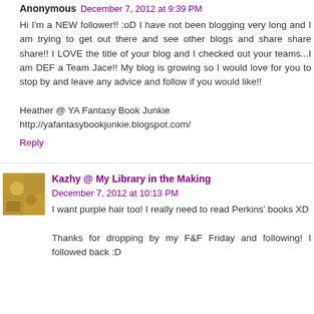Anonymous December 7, 2012 at 9:39 PM
Hi I'm a NEW follower!! :oD I have not been blogging very long and I am trying to get out there and see other blogs and share share share!! I LOVE the title of your blog and I checked out your teams...I am DEF a Team Jace!! My blog is growing so I would love for you to stop by and leave any advice and follow if you would like!!

Heather @ YA Fantasy Book Junkie
http://yafantasybookjunkie.blogspot.com/
Reply
Kazhy @ My Library in the Making December 7, 2012 at 10:13 PM
I want purple hair too! I really need to read Perkins' books XD

Thanks for dropping by my F&F Friday and following! I followed back :D